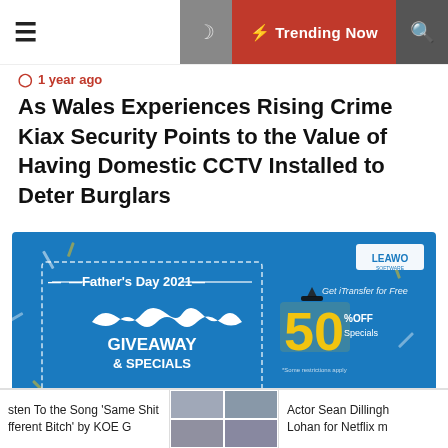≡  [moon icon]  ⚡ Trending Now  [search icon]
⊙ 1 year ago
As Wales Experiences Rising Crime Kiax Security Points to the Value of Having Domestic CCTV Installed to Deter Burglars
[Figure (illustration): Leawo Father's Day 2021 Giveaway & Specials advertisement banner with blue background, mustache graphic, and 50% OFF promotion]
⊙ 1 year ago
Get 40% off Leawo Blu-ray Creator in Leawo's
sten To the Song 'Same Shit fferent Bitch' by KOE G  |  [grid of people photos]  |  Actor Sean Dillingh Lohan for Netflix m